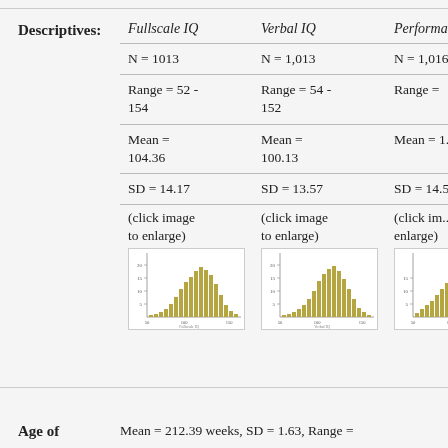|  | Fullscale IQ | Verbal IQ | Performance IQ (partial) |
| --- | --- | --- | --- |
| N | N = 1013 | N = 1,013 | N = 1,01... |
| Range | Range = 52 - 154 | Range = 54 - 152 | Range = ... |
| Mean | Mean = 104.36 | Mean = 100.13 | Mean = 1... |
| SD | SD = 14.17 | SD = 13.57 | SD = 14.5... |
| (click image to enlarge) | (click image to enlarge) | (click image to enlarge) | (click im... enlarge) |
[Figure (histogram): Histogram of Fullscale IQ scores, bell-shaped distribution centered around 100-110, olive/gold colored bars]
[Figure (histogram): Histogram of Verbal IQ scores, bell-shaped distribution centered around 100, olive/gold colored bars]
[Figure (histogram): Histogram of Performance IQ scores, partially visible, olive/gold colored bars]
Age of
Mean = 212.39 weeks, SD = 1.63, Range =